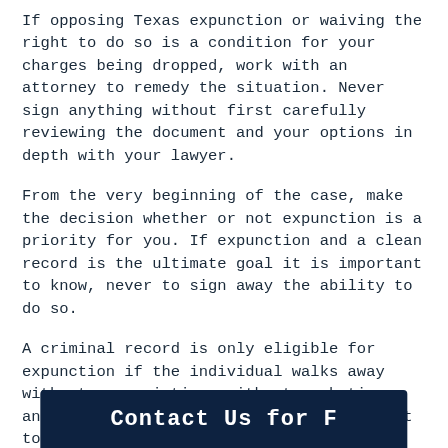If opposing Texas expunction or waiving the right to do so is a condition for your charges being dropped, work with an attorney to remedy the situation. Never sign anything without first carefully reviewing the document and your options in depth with your lawyer.
From the very beginning of the case, make the decision whether or not expunction is a priority for you. If expunction and a clean record is the ultimate goal it is important to know, never to sign away the ability to do so.
A criminal record is only eligible for expunction if the individual walks away without a conviction, without probation, and without having signed away their right to expunction. Stick to those three main criteria and a fresh start will likely be in your future.
[Figure (other): Dark navy blue banner at the bottom of the page, partially visible, with white bold text beginning to appear.]